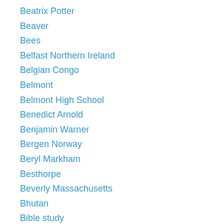Beatrix Potter
Beaver
Bees
Belfast Northern Ireland
Belgian Congo
Belmont
Belmont High School
Benedict Arnold
Benjamin Warner
Bergen Norway
Beryl Markham
Besthorpe
Beverly Massachusetts
Bhutan
Bible study
Bicycling
Big Vehicles
Bike Racing
Bingo
Birm...